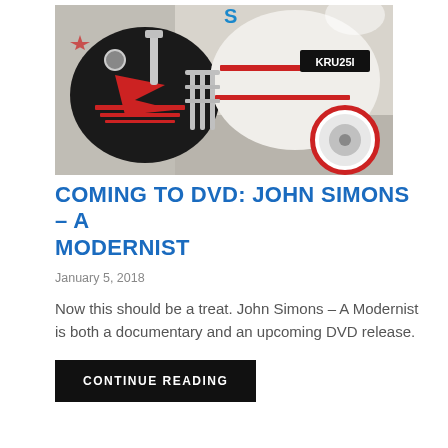[Figure (photo): Close-up photo of a heavily customized Lambretta scooter with black body, red and white graphic detailing, chrome accessories, and a registration plate reading KRU25I, parked on a street.]
COMING TO DVD: JOHN SIMONS – A MODERNIST
January 5, 2018
Now this should be a treat. John Simons – A Modernist is both a documentary and an upcoming DVD release.
CONTINUE READING